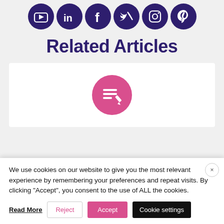[Figure (illustration): Six social media icons in dark purple circles: YouTube, LinkedIn, Facebook, Twitter, Instagram, Pinterest]
Related Articles
[Figure (illustration): White article/edit icon on a pink circle background, representing an article card placeholder]
We use cookies on our website to give you the most relevant experience by remembering your preferences and repeat visits. By clicking “Accept”, you consent to the use of ALL the cookies.
Read More  Reject  Accept  Cookie settings